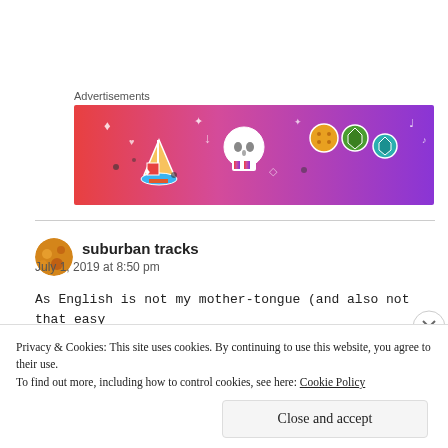Advertisements
[Figure (illustration): Colorful advertisement banner with gradient background from red/orange to purple, featuring illustrated icons: a sailboat, skull, dice, stars, music notes, hearts, and decorative doodles on a warm-to-cool gradient.]
suburban tracks
July 1, 2019 at 8:50 pm
As English is not my mother-tongue (and also not that easy at a certain level), I sometimes listen more to the melodies
Privacy & Cookies: This site uses cookies. By continuing to use this website, you agree to their use.
To find out more, including how to control cookies, see here: Cookie Policy
Close and accept